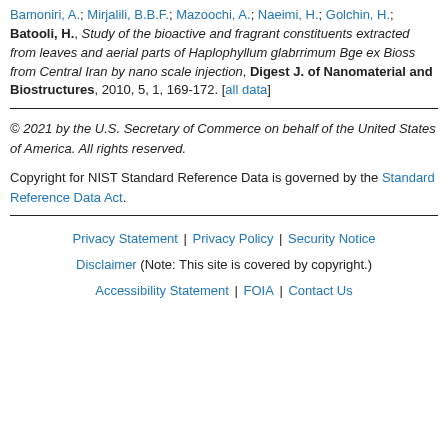Bamoniri, A.; Mirjalili, B.B.F.; Mazoochi, A.; Naeimi, H.; Golchin, H.; Batooli, H., Study of the bioactive and fragrant constituents extracted from leaves and aerial parts of Haplophyllum glabrrimum Bge ex Bioss from Central Iran by nano scale injection, Digest J. of Nanomaterial and Biostructures, 2010, 5, 1, 169-172. [all data]
© 2021 by the U.S. Secretary of Commerce on behalf of the United States of America. All rights reserved.
Copyright for NIST Standard Reference Data is governed by the Standard Reference Data Act.
Privacy Statement | Privacy Policy | Security Notice | Disclaimer (Note: This site is covered by copyright.) | Accessibility Statement | FOIA | Contact Us